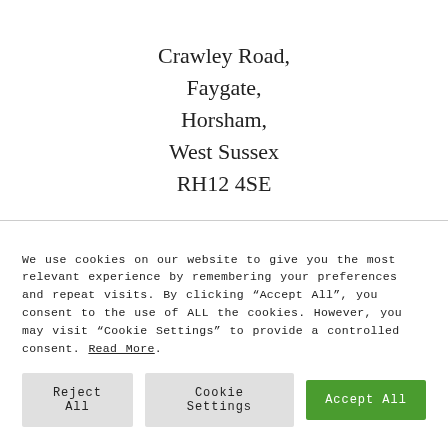Crawley Road,
Faygate,
Horsham,
West Sussex
RH12 4SE
We use cookies on our website to give you the most relevant experience by remembering your preferences and repeat visits. By clicking “Accept All”, you consent to the use of ALL the cookies. However, you may visit “Cookie Settings” to provide a controlled consent. Read More.